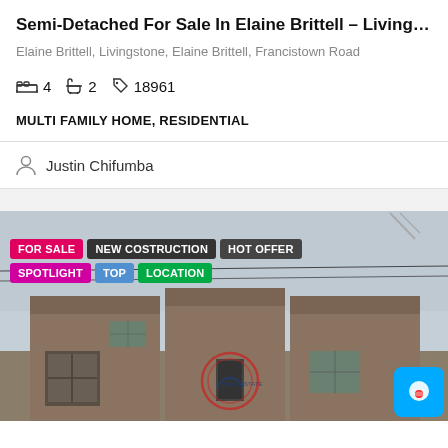Semi-Detached For Sale In Elaine Brittell – Living…
Elaine Brittell, Livingstone, Elaine Brittell, Francistown Road
4  2  18961
MULTI FAMILY HOME, RESIDENTIAL
Justin Chifumba
[Figure (photo): Exterior photo of a semi-detached residential property with brown/tan walls under an overcast sky. Tags overlaid: FOR SALE, NEW COSTRUCTION, HOT OFFER, SPOTLIGHT, TOP, LOCATION.]